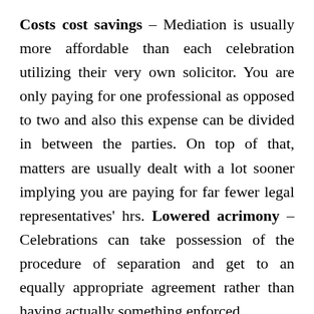Costs cost savings – Mediation is usually more affordable than each celebration utilizing their very own solicitor. You are only paying for one professional as opposed to two and also this expense can be divided in between the parties. On top of that, matters are usually dealt with a lot sooner implying you are paying for far fewer legal representatives' hrs. Lowered acrimony – Celebrations can take possession of the procedure of separation and get to an equally appropriate agreement rather than having actually something enforced